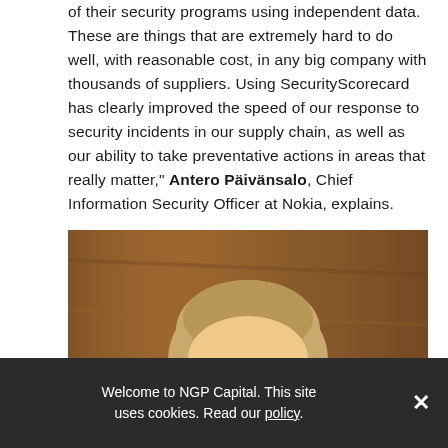of their security programs using independent data. These are things that are extremely hard to do well, with reasonable cost, in any big company with thousands of suppliers. Using SecurityScorecard has clearly improved the speed of our response to security incidents in our supply chain, as well as our ability to take preventative actions in areas that really matter," Antero Päivänsalo, Chief Information Security Officer at Nokia, explains.
[Figure (photo): Portrait photo of Antero Päivänsalo, a middle-aged man with light brown hair and round glasses, against a warm wooden background, wearing a dark suit.]
Welcome to NGP Capital. This site uses cookies. Read our policy.